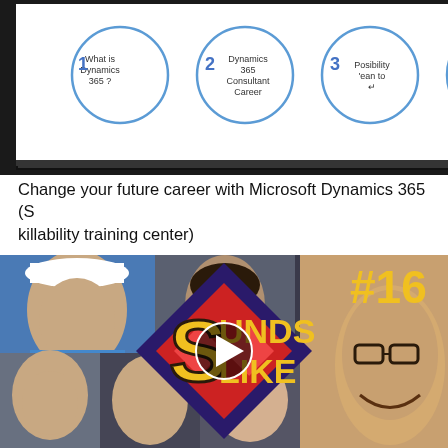[Figure (screenshot): Screenshot of a Microsoft Dynamics 365 training video showing 4 numbered circle topics: 1 What is Dynamics 365?, 2 Dynamics 365 Consultant Career, 3 Possibility lean to, 4 Aberdeen Big Surprise. Right side shows participant avatars in a grid.]
Change your future career with Microsoft Dynamics 365 (Skillability training center)
[Figure (screenshot): Thumbnail for 'Sounds Like' podcast episode #16 showing multiple people's faces in a collage with the Sounds Like logo (yellow text with diamond checkerboard design) and a play button overlay. #16 shown in yellow top right.]